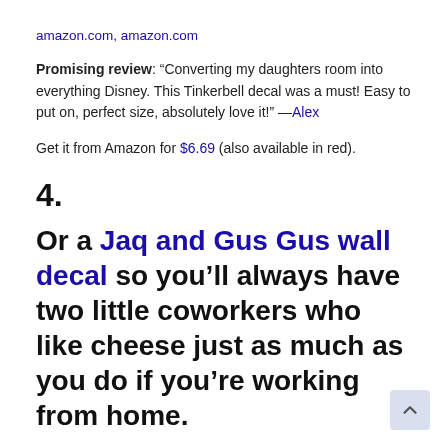amazon.com, amazon.com
Promising review: “Converting my daughters room into everything Disney. This Tinkerbell decal was a must! Easy to put on, perfect size, absolutely love it!” —Alex
Get it from Amazon for $6.69 (also available in red).
4.
Or a Jaq and Gus Gus wall decal so you’ll always have two little coworkers who like cheese just as much as you do if you’re working from home.